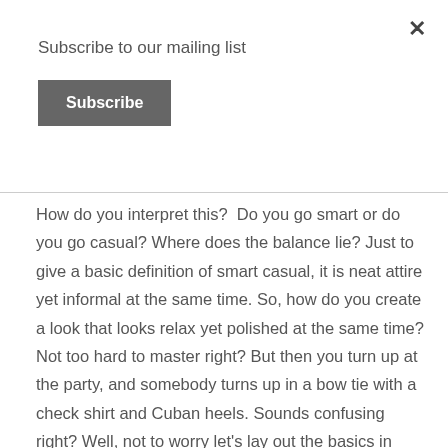×
Subscribe to our mailing list
Subscribe
How do you interpret this?  Do you go smart or do you go casual? Where does the balance lie? Just to give a basic definition of smart casual, it is neat attire yet informal at the same time. So, how do you create a look that looks relax yet polished at the same time? Not too hard to master right? But then you turn up at the party, and somebody turns up in a bow tie with a check shirt and Cuban heels. Sounds confusing right? Well, not to worry let's lay out the basics in getting the balance right so you can go to the party looking smart and (of course) casual!